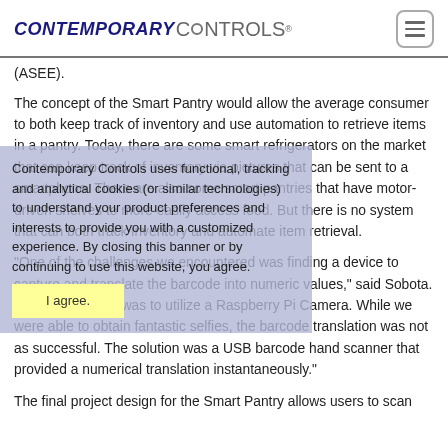Contemporary Controls (logo) | hamburger menu icon
(ASEE).
The concept of the Smart Pantry would allow the average consumer to both keep track of inventory and use automation to retrieve items in a pantry. Today, there are some smart refrigerators on the market that can keep track of inventory via pictures that can be sent to a smartphone. There are also some smart pantries that have motor-driven shelves to more easily access food. But there is no system that can both track inventory and automate item retrieval.
"One of the challenges we encountered was finding a device to capture and translate the barcode into numeric values," said Sobota. "Our first attempt was to utilize a Raspberry Pi Camera. While we were able to obtain fantastic selfies, the barcode translation was not as successful. The solution was a USB barcode hand scanner that provided a numerical translation instantaneously."
The final project design for the Smart Pantry allows users to scan